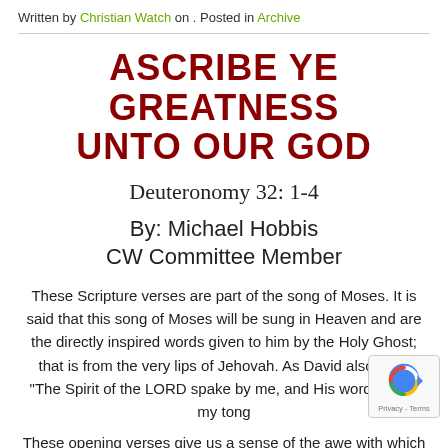Written by Christian Watch on . Posted in Archive
ASCRIBE YE GREATNESS UNTO OUR GOD
Deuteronomy 32: 1-4
By: Michael Hobbis
CW Committee Member
These Scripture verses are part of the song of Moses. It is said that this song of Moses will be sung in Heaven and are the directly inspired words given to him by the Holy Ghost; that is from the very lips of Jehovah. As David also said: "The Spirit of the LORD spake by me, and His word was in my tong
These opening verses give us a sense of the awe with which we